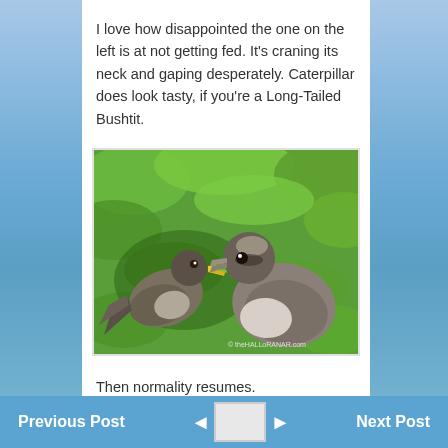I love how disappointed the one on the left is at not getting fed. It's craning its neck and gaping desperately. Caterpillar does look tasty, if you're a Long-Tailed Bushtit.
[Figure (photo): Two Long-Tailed Bushtit birds among green leaves; adult bird holding a green caterpillar in its beak facing a younger bird with open beak. Watermark: © theHALLoRANAR.com]
Then normality resumes.
Previous Post ◄  ► Next Post